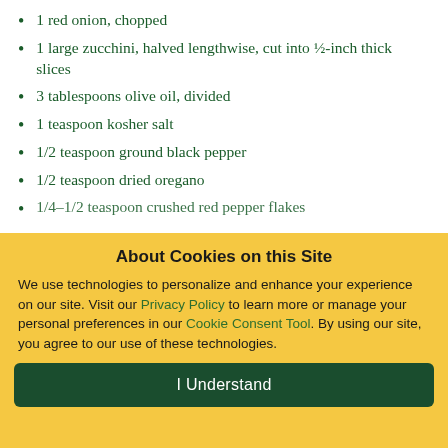1 red onion, chopped
1 large zucchini, halved lengthwise, cut into ½-inch thick slices
3 tablespoons olive oil, divided
1 teaspoon kosher salt
1/2 teaspoon ground black pepper
1/2 teaspoon dried oregano
1/4–1/2 teaspoon crushed red pepper flakes
About Cookies on this Site
We use technologies to personalize and enhance your experience on our site. Visit our Privacy Policy to learn more or manage your personal preferences in our Cookie Consent Tool. By using our site, you agree to our use of these technologies.
I Understand